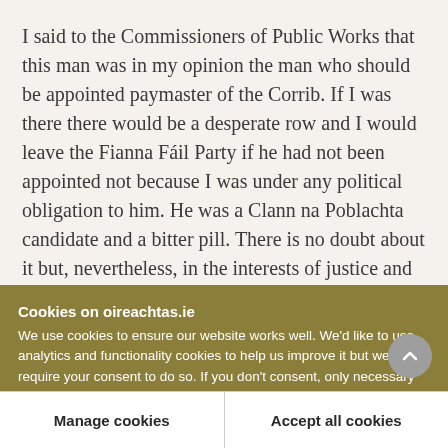I said to the Commissioners of Public Works that this man was in my opinion the man who should be appointed paymaster of the Corrib. If I was there there would be a desperate row and I would leave the Fianna Fáil Party if he had not been appointed not because I was under any political obligation to him. He was a Clann na Poblachta candidate and a bitter pill. There is no doubt about it but, nevertheless, in the interests of justice and fair play and in the interests of his young family I was going to
Cookies on oireachtas.ie
We use cookies to ensure our website works well. We'd like to use analytics and functionality cookies to help us improve it but we require your consent to do so. If you don't consent, only necessary cookies will be used. Read more about our cookies
Manage cookies
Accept all cookies